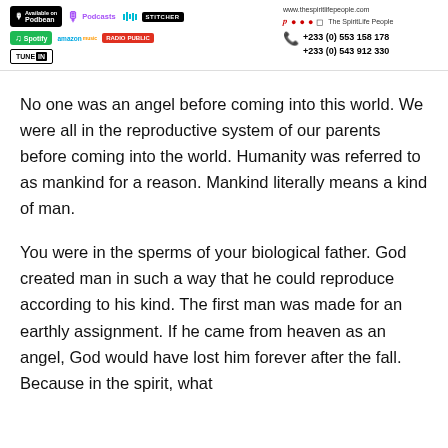[Figure (infographic): Header with podcast platform logos (Podbean, Apple Podcasts, Stitcher, Spotify, Amazon Music, Radio Public, TuneIn) on the left, and contact info including website www.thespiritlifepeople.com, social media icons, The SpiritLife People text, and phone numbers +233 (0) 553 158 178 and +233 (0) 543 912 330 on the right.]
No one was an angel before coming into this world. We were all in the reproductive system of our parents before coming into the world. Humanity was referred to as mankind for a reason. Mankind literally means a kind of man.
You were in the sperms of your biological father. God created man in such a way that he could reproduce according to his kind. The first man was made for an earthly assignment. If he came from heaven as an angel, God would have lost him forever after the fall. Because in the spirit, what